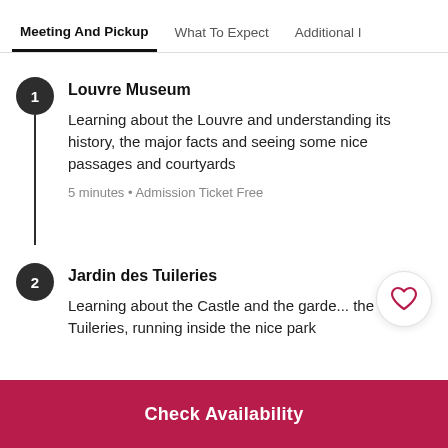Meeting And Pickup | What To Expect | Additional I...
1 Louvre Museum
Learning about the Louvre and understanding its history, the major facts and seeing some nice passages and courtyards
5 minutes • Admission Ticket Free
2 Jardin des Tuileries
Learning about the Castle and the garde... the Tuileries, running inside the nice park
Check Availability